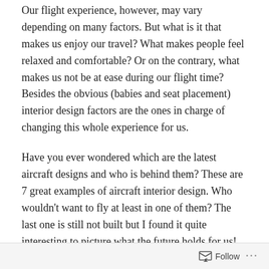Our flight experience, however, may vary depending on many factors. But what is it that makes us enjoy our travel? What makes people feel relaxed and comfortable? Or on the contrary, what makes us not be at ease during our flight time? Besides the obvious (babies and seat placement) interior design factors are the ones in charge of changing this whole experience for us.
Have you ever wondered which are the latest aircraft designs and who is behind them? These are 7 great examples of aircraft interior design. Who wouldn't want to fly at least in one of them? The last one is still not built but I found it quite interesting to picture what the future holds for us! Hope you enjoy.
Click on images to make them larger.
Follow